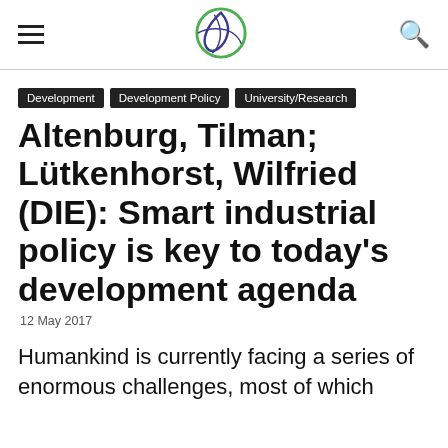≡  [logo]  🔍
Development
Development Policy
University/Research
Altenburg, Tilman; Lütkenhorst, Wilfried (DIE): Smart industrial policy is key to today's development agenda
12 May 2017
Humankind is currently facing a series of enormous challenges, most of which